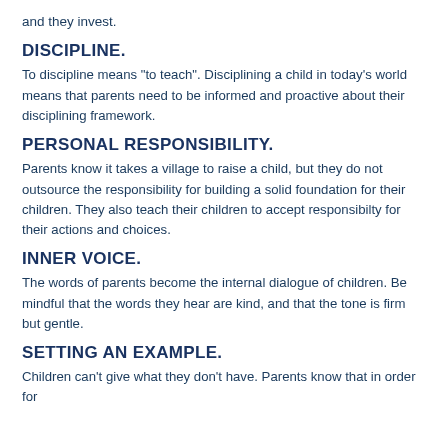and they invest.
DISCIPLINE.
To discipline means "to teach". Disciplining a child in today's world means that parents need to be informed and proactive about their disciplining framework.
PERSONAL RESPONSIBILITY.
Parents know it takes a village to raise a child, but they do not outsource the responsibility for building a solid foundation for their children. They also teach their children to accept responsibilty for their actions and choices.
INNER VOICE.
The words of parents become the internal dialogue of children. Be mindful that the words they hear are kind, and that the tone is firm but gentle.
SETTING AN EXAMPLE.
Children can't give what they don't have. Parents know that in order for